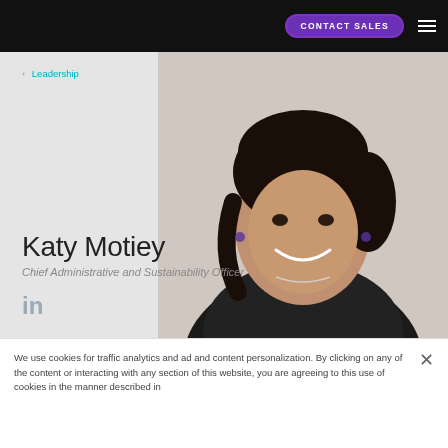CONTACT SALES
‹ Leadership
[Figure (photo): Professional headshot of Katy Motiey, a woman with dark hair pulled back, wearing a black blazer, smiling, photographed against a light grey background.]
Katy Motiey
Chief Administrative and Sustainability Officer
[Figure (logo): LinkedIn icon in grey]
We use cookies for traffic analytics and ad and content personalization. By clicking on any of the content or interacting with any section of this website, you are agreeing to this use of cookies in the manner described in